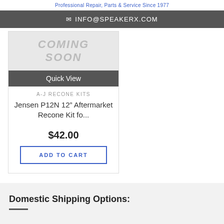Professional Repair, Parts & Service Since 1977
INFO@SPEAKERX.COM
[Figure (other): Coming Soon placeholder image for product]
Quick View
A-J RECONE KITS
Jensen P12N 12" Aftermarket Recone Kit fo...
$42.00
ADD TO CART
Domestic Shipping Options: